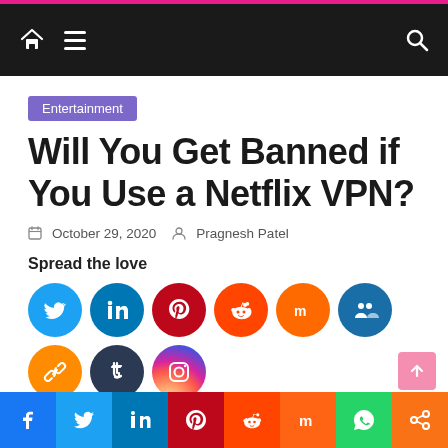Navigation bar with home, menu, and search icons
Entertainment
Will You Get Banned if You Use a Netflix VPN?
October 29, 2020  Pragnesh Patel
Spread the love
[Figure (infographic): Social media share buttons: Twitter, LinkedIn, Pinterest, Reddit, MeWe, social bookmark, copy link, Tumblr, Instagram, and a share button]
Social share bar: Facebook, Twitter, LinkedIn, Pinterest, Reddit, Mix, WhatsApp, Share